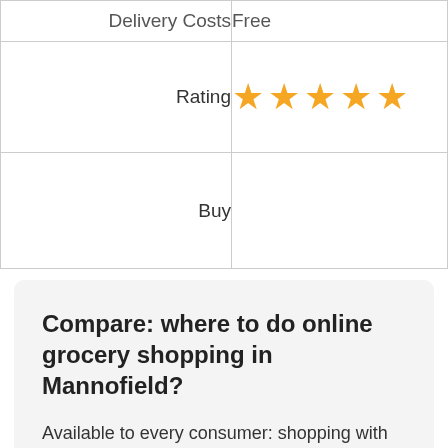| Label | Value |
| --- | --- |
| Delivery Costs | Free |
| Rating | ★★★★★ |
| Buy |  |
Compare: where to do online grocery shopping in Mannofield?
Available to every consumer: shopping with discount. The delivery costs often make this more expensive. There are choices enough to order groceries online in Mannofield with new techniques. Always use a discount voucher or order